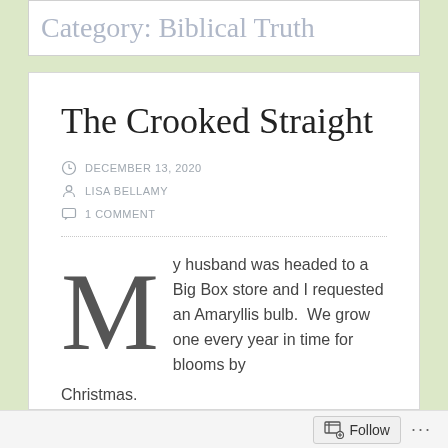Category: Biblical Truth
The Crooked Straight
DECEMBER 13, 2020
LISA BELLAMY
1 COMMENT
My husband was headed to a Big Box store and I requested an Amaryllis bulb.  We grow one every year in time for blooms by Christmas.